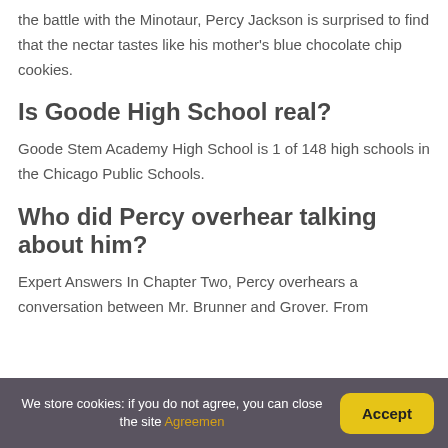the battle with the Minotaur, Percy Jackson is surprised to find that the nectar tastes like his mother's blue chocolate chip cookies.
Is Goode High School real?
Goode Stem Academy High School is 1 of 148 high schools in the Chicago Public Schools.
Who did Percy overhear talking about him?
Expert Answers In Chapter Two, Percy overhears a conversation between Mr. Brunner and Grover. From
We store cookies: if you do not agree, you can close the site Agreemen    Accept